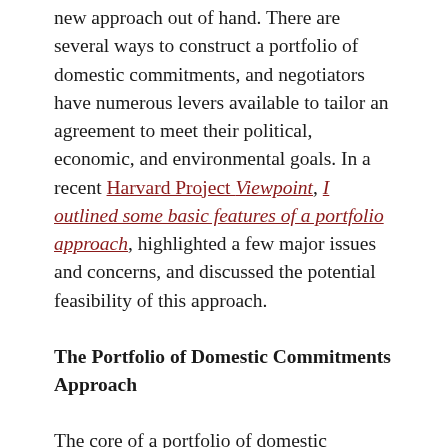new approach out of hand.  There are several ways to construct a portfolio of domestic commitments, and negotiators have numerous levers available to tailor an agreement to meet their political, economic, and environmental goals.  In a recent Harvard Project Viewpoint, I outlined some basic features of a portfolio approach, highlighted a few major issues and concerns, and discussed the potential feasibility of this approach.
The Portfolio of Domestic Commitments Approach
The core of a portfolio of domestic commitments is agreement among a set of member countries to conform to the climate